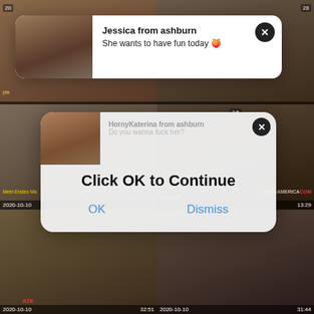[Figure (screenshot): Grid of 6 adult video thumbnails in 2 columns, 3 rows, with timestamps and dates. Background of the page.]
[Figure (screenshot): Notification popup card: photo of a woman on the left, text 'Jessica from ashburn / She wants to have fun today' on the right, with X close button.]
Jessica from ashburn
She wants to have fun today 🍑
[Figure (screenshot): Second notification/dialog popup with a 'Click OK to Continue' prompt, showing partially visible text 'HornyKaterina from ashburn / Do you wanna fuck her?' and OK / Dismiss buttons.]
HornyKaterina from ashburn
Do you wanna fuck her?
Click OK to Continue
OK
Dismiss